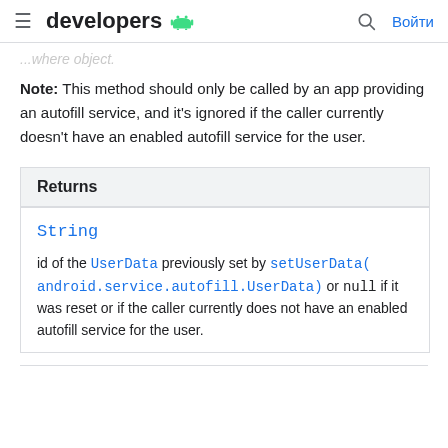developers [android logo] [search] Войти
...where object.
Note: This method should only be called by an app providing an autofill service, and it's ignored if the caller currently doesn't have an enabled autofill service for the user.
| Returns |
| --- |
| String |
| id of the UserData previously set by setUserData(android.service.autofill.UserData) or null if it was reset or if the caller currently does not have an enabled autofill service for the user. |